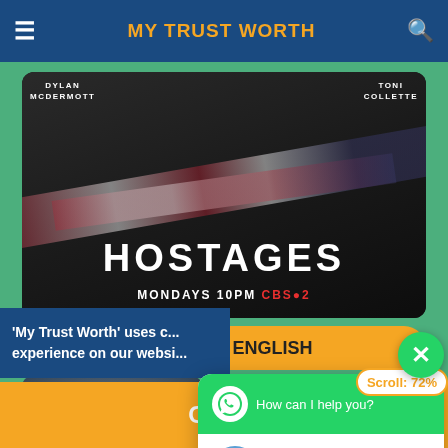MY TRUST WORTH
[Figure (screenshot): Hostages TV show promotional image - DYLAN McDERMOTT and TONI COLLETTE, HOSTAGES, MONDAYS 10PM CBS]
Hostages - ENGLISH
'My Trust Worth' uses c... experience on our websi...
[Figure (screenshot): WhatsApp support chat popup - How can I help you? Support mytrustworth Online. Scroll: 72% badge.]
Okay!